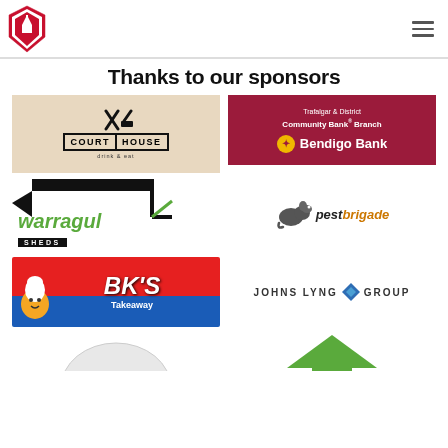Trafalgar Football Club logo and navigation menu
Thanks to our sponsors
[Figure (logo): Court House drink & eat logo on beige background with crossed cutlery icon]
[Figure (logo): Trafalgar & District Community Bank Branch - Bendigo Bank logo on dark red/maroon background]
[Figure (logo): Warragul Sheds logo with green italic text and black bar]
[Figure (logo): Pest Brigade logo with rat graphic and stylized text]
[Figure (logo): BK's Takeaway logo with red and blue background and cartoon burger character]
[Figure (logo): Johns Lyng Group logo with blue diamond/chevron graphic]
[Figure (logo): Partial logo bottom left - partially visible]
[Figure (logo): Partial logo bottom right - partially visible green roof/house shape]